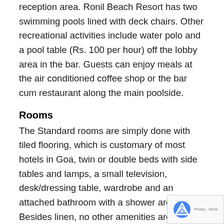reception area. Ronil Beach Resort has two swimming pools lined with deck chairs. Other recreational activities include water polo and a pool table (Rs. 100 per hour) off the lobby area in the bar. Guests can enjoy meals at the air conditioned coffee shop or the bar cum restaurant along the main poolside.
Rooms
The Standard rooms are simply done with tiled flooring, which is customary of most hotels in Goa, twin or double beds with side tables and lamps, a small television, desk/dressing table, wardrobe and an attached bathroom with a shower area. Besides linen, no other amenities are supplied. Follow the path through a rose garden replete with sun beds, wrought iron benches and lily pods, to blocks of the Deluxe rooms. The rooms are extremely spacious with a double platform bed, large television, fridge telephone, a single sofa cum bed, study desk and a